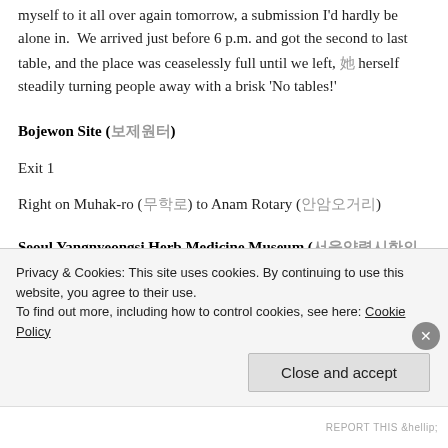myself to it all over again tomorrow, a submission I'd hardly be alone in.  We arrived just before 6 p.m. and got the second to last table, and the place was ceaselessly full until we left, 她 herself steadily turning people away with a brisk 'No tables!'
Bojewon Site (보제원터)
Exit 1
Right on Muhak-ro (무학로) to Anam Rotary (안암오거리)
Seoul Yangnyeongsi Herb Medicine Museum (서울약령시한의약박물관)
Exit 3
Privacy & Cookies: This site uses cookies. By continuing to use this website, you agree to their use.
To find out more, including how to control cookies, see here: Cookie Policy
Close and accept